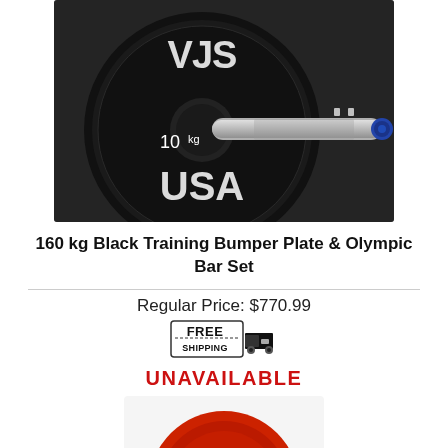[Figure (photo): Close-up photo of a black bumper plate with '10kg' and 'USA' text markings, with a chrome Olympic barbell through the center, set against a dark background.]
160 kg Black Training Bumper Plate & Olympic Bar Set
Regular Price: $770.99
[Figure (illustration): Free Shipping badge with a truck icon]
UNAVAILABLE
[Figure (photo): Partial photo of a red bumper plate, cropped at bottom of page.]